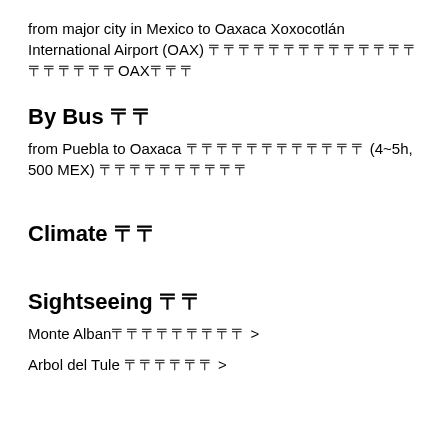from major city in Mexico to Oaxaca Xoxocotlán International Airport (OAX) 〓〓〓〓〓〓〓〓〓〓〓〓〓〓〓〓〓〓〓〓OAX〓〓〓
By Bus 〓〓
from Puebla to Oaxaca 〓〓〓〓〓〓〓〓〓〓〓〓 (4~5h, 500 MEX) 〓〓〓〓〓〓〓〓〓〓
Climate 〓〓
Sightseeing 〓〓
Monte Alban〓〓〓〓〓〓〓〓〓 >
Arbol del Tule 〓〓〓〓〓〓 >